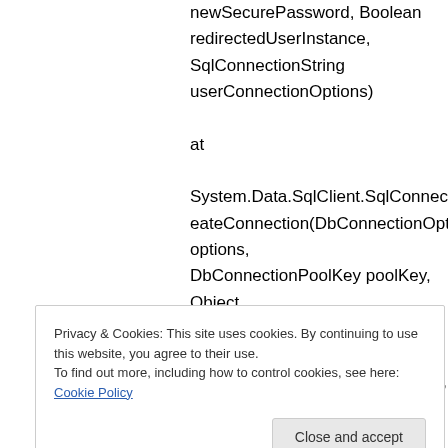newSecurePassword, Boolean redirectedUserInstance, SqlConnectionString userConnectionOptions) at System.Data.SqlClient.SqlConnectionFactory.CreateConnection(DbConnectionOptions options, DbConnectionPoolKey poolKey, Object poolGroupProviderInfo, DbConnectionPool pool, DbConnection owningConnection, DbConnectionOptions userOptions)
Privacy & Cookies: This site uses cookies. By continuing to use this website, you agree to their use. To find out more, including how to control cookies, see here: Cookie Policy
Close and accept
DbConnectionOptions userOptions)